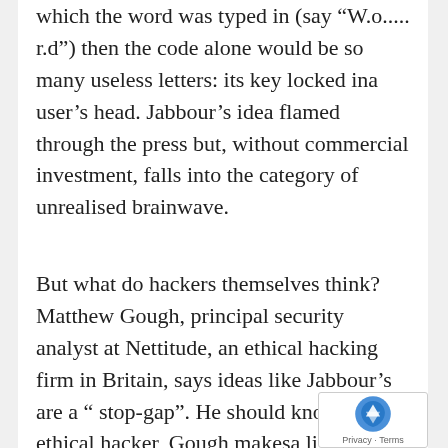which the word was typed in (say “W.o..... r.d”) then the code alone would be so many useless letters: its key locked ina user’s head. Jabbour’s idea flamed through the press but, without commercial investment, falls into the category of unrealised brainwave.
But what do hackers themselves think? Matthew Gough, principal security analyst at Nettitude, an ethical hacking firm in Britain, says ideas like Jabbour’s are a “ stop-gap”. He should know. As an ethical hacker, Gough makesa living from finding the weak points in a company’s security. (“I’m trained to